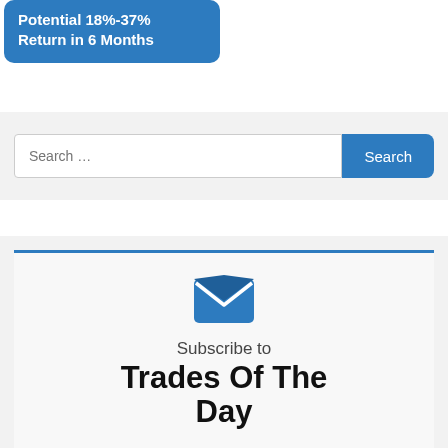Potential 18%-37% Return in 6 Months
Search …
[Figure (infographic): Open envelope icon in blue, above subscribe text]
Subscribe to Trades Of The Day